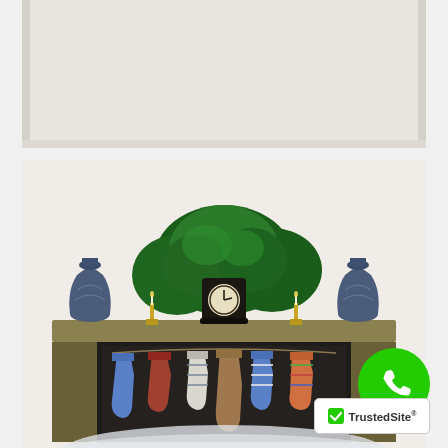[Figure (illustration): Top partial strip showing a light-colored background, cropped portion of an illustration]
[Figure (illustration): Watercolor illustration of a fireplace mantel decorated for Christmas. The mantel has two decorative blue/green vases on either end, two gold candlesticks with white candles, a round black mantel clock in the center, and green leafy branches/plants behind the items. Below the mantel shelf, several stockings of various colors (blue, red/brown, white/striped, tan/brown, colorful striped) hang on a string. The fireplace opening below shows snow or ash at the bottom. The overall style is a vintage watercolor painting.]
[Figure (illustration): Bottom partial strip showing another illustration, cropped at bottom of page with a TrustedSite badge overlay in the lower right corner]